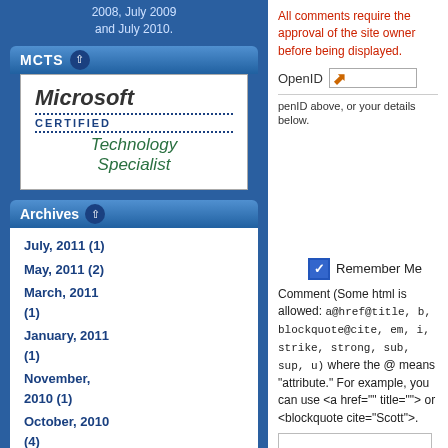2008, July 2009 and July 2010.
[Figure (logo): MCTS Microsoft Certified Technology Specialist badge/logo]
Archives
July, 2011 (1)
May, 2011 (2)
March, 2011 (1)
January, 2011 (1)
November, 2010 (1)
October, 2010 (4)
September, 2010 (1)
August, 2010 (4)
All comments require the approval of the site owner before being displayed.
OpenID
penID above, or your details below.
Biztalk® Server 2006 Custom Applications BizTalk® Server 2004 Custom Applications Biztalk Server 2006 R2 Custom Applications
Remember Me
Comment (Some html is allowed: a@href@title, b, blockquote@cite, em, i, strike, strong, sub, sup, u) where the @ means "attribute." For example, you can use <a href="" title=""> or <blockquote cite="Scott">.